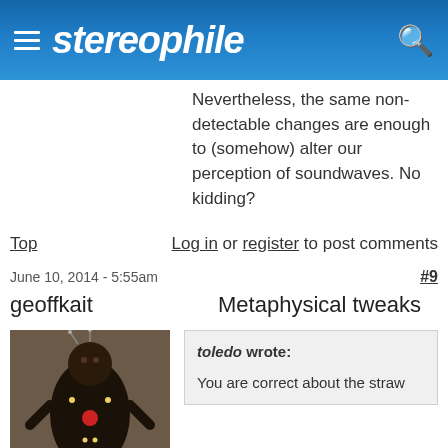stereophile
Nevertheless, the same non-detectable changes are enough to (somehow) alter our perception of soundwaves. No kidding?
Top   Log in or register to post comments
June 10, 2014 - 5:55am   #9
geoffkait   Metaphysical tweaks
[Figure (photo): Avatar image of a small handmade toy figurine resembling a voodoo doll, dark colored with red and white decorations]
toledo wrote:

You are correct about the straw